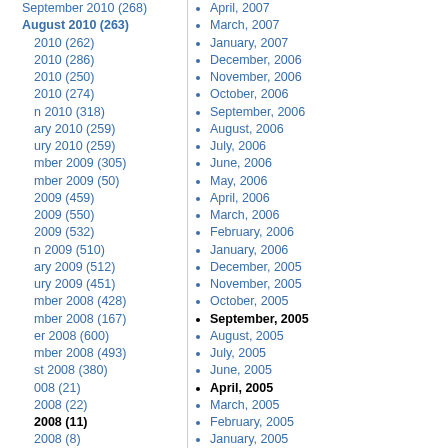September 2010 (268)
August 2010 (263)
2010 (262)
2010 (286)
2010 (250)
2010 (274)
n 2010 (318)
ary 2010 (259)
ury 2010 (259)
mber 2009 (305)
mber 2009 (50)
2009 (459)
2009 (550)
2009 (532)
n 2009 (510)
ary 2009 (512)
ury 2009 (451)
mber 2008 (428)
mber 2008 (167)
er 2008 (600)
mber 2008 (493)
st 2008 (380)
008 (21)
2008 (22)
2008 (11)
2008 (8)
n 2008 (12)
ary 2008 (8)
ury 2008 (7)
mber 2007 (9)
mber 2007 (5)
er 2007 (8)
mber 2007 (5)
st 2007 (6)
007 (7)
2007 (5)
2007 (4)
2007 (2)
May, 2007
April, 2007
March, 2007
January, 2007
December, 2006
November, 2006
October, 2006
September, 2006
August, 2006
July, 2006
June, 2006
May, 2006
April, 2006
March, 2006
February, 2006
January, 2006
December, 2005
November, 2005
October, 2005
September, 2005
August, 2005
July, 2005
June, 2005
April, 2005
March, 2005
February, 2005
January, 2005
December, 2004
November, 2004
October, 2004
June, 2004
May, 2004
October, 2003